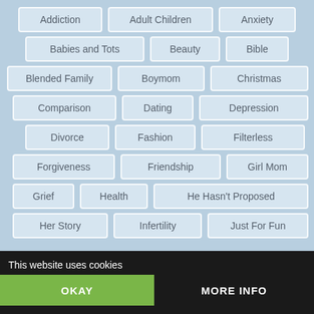Addiction
Adult Children
Anxiety
Babies and Tots
Beauty
Bible
Blended Family
Boymom
Christmas
Comparison
Dating
Depression
Divorce
Fashion
Filterless
Forgiveness
Friendship
Girl Mom
Grief
Health
He Hasn't Proposed
Her Story
Infertility
Just For Fun
This website uses cookies
OKAY
MORE INFO